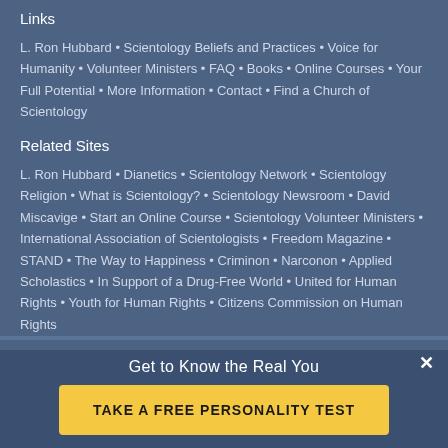Links
L. Ron Hubbard • Scientology Beliefs and Practices • Voice for Humanity • Volunteer Ministers • FAQ • Books • Online Courses • Your Full Potential • More Information • Contact • Find a Church of Scientology
Related Sites
L. Ron Hubbard • Dianetics • Scientology Network • Scientology Religion • What is Scientology? • Scientology Newsroom • David Miscavige • Start an Online Course • Scientology Volunteer Ministers • International Association of Scientologists • Freedom Magazine • STAND • The Way to Happiness • Criminon • Narconon • Applied Scholastics • In Support of a Drug-Free World • United for Human Rights • Youth for Human Rights • Citizens Commission on Human Rights
© 2022 Church of Scientology Denmark. All Rights Reserved. Privacy Notice • Cookie Policy • Terms of Use • Legal Notice
Get to Know the Real You
TAKE A FREE PERSONALITY TEST